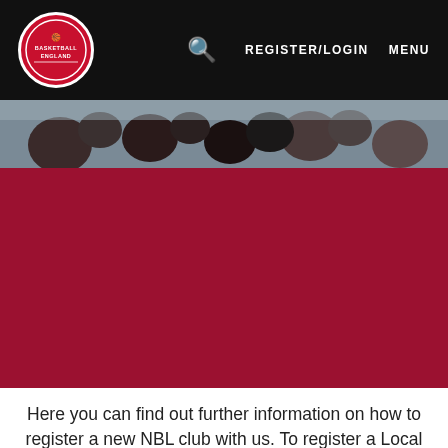[Figure (logo): Basketball England circular logo in red with white text and emblem]
REGISTER/LOGIN   MENU
[Figure (photo): Crowd of people at a basketball event, partially visible at top of hero section]
[Figure (other): Large dark red/crimson rectangular block]
Here you can find out further information on how to register a new NBL club with us. To register a Local League club, please